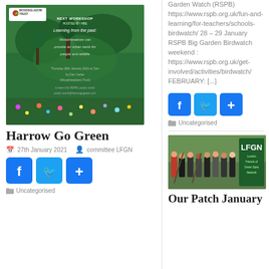[Figure (photo): Workshop promotional image with green background showing next workshop hosted by HBE: Learning from the past - Woodmeadows can provide an urban oasis for people and wildlife, Thursday 28th January 2021 at 7pm by Dan Carter (Woodmeadows Trust), Woodsladow Trust logo in top left]
Harrow Go Green
27th January 2021   committee LFGN
[Figure (infographic): Social share buttons: Facebook (blue), Twitter (blue), Plus/share (blue)]
Uncategorised
Garden Watch (RSPB) https://www.rspb.org.uk/fun-and-learning/for-teachers/schools-birdwatch/ 28 – 29 January RSPB Big Garden Birdwatch weekend : https://www.rspb.org.uk/get-involved/activities/birdwatch/ FEBRUARY: [...]
[Figure (infographic): Social share buttons: Facebook (blue), Twitter (blue), Plus/share (blue)]
Uncategorised
[Figure (photo): Group of people outdoors with LFGN (London Friends of Green Spaces Network) badge/logo in corner]
Our Patch January